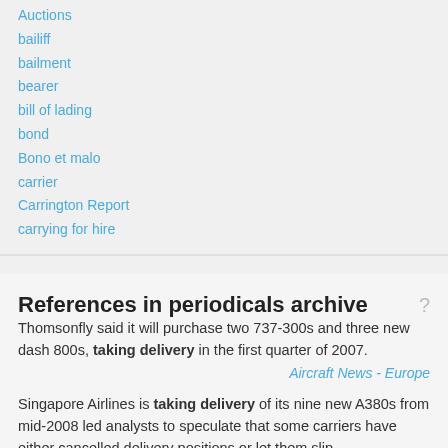Auctions
bailiff
bailment
bearer
bill of lading
bond
Bono et malo
carrier
Carrington Report
carrying for hire
References in periodicals archive
Thomsonfly said it will purchase two 737-300s and three new dash 800s, taking delivery in the first quarter of 2007.
Aircraft News - Europe
Singapore Airlines is taking delivery of its nine new A380s from mid-2008 led analysts to speculate that some carriers have either cancelled delivery positions or let them slip.
Aircraft News - Asia / Pacific